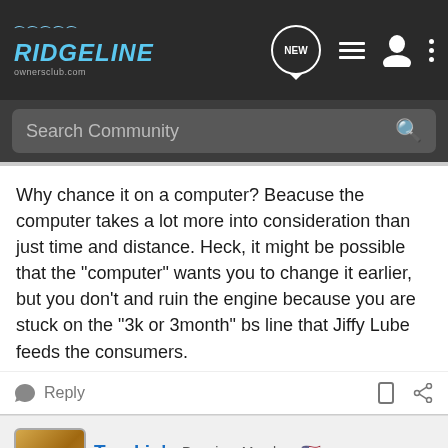RIDGELINE ownersclub.com
Search Community
Why chance it on a computer? Beacuse the computer takes a lot more into consideration than just time and distance. Heck, it might be possible that the "computer" wants you to change it earlier, but you don't and ruin the engine because you are stuck on the "3k or 3month" bs line that Jiffy Lube feeds the consumers.
Reply
Truckin' · Premium Member
Joined Apr 10, 2005 · 5,391 Posts
#12 • Oc
[Figure (screenshot): Nitto ad banner: ALL-NEW NOMAD GRAPPLER CROSSOVER-TERRAIN TIRE with tire imagery]
On the